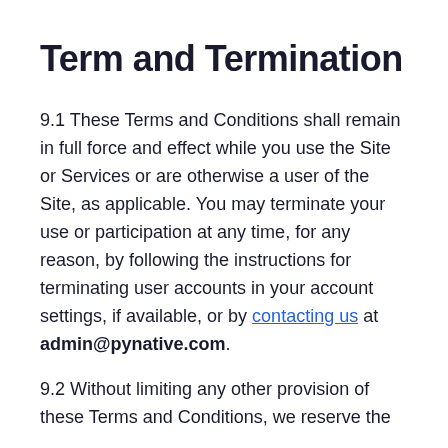Term and Termination
9.1 These Terms and Conditions shall remain in full force and effect while you use the Site or Services or are otherwise a user of the Site, as applicable. You may terminate your use or participation at any time, for any reason, by following the instructions for terminating user accounts in your account settings, if available, or by contacting us at admin@pynative.com.
9.2 Without limiting any other provision of these Terms and Conditions, we reserve the